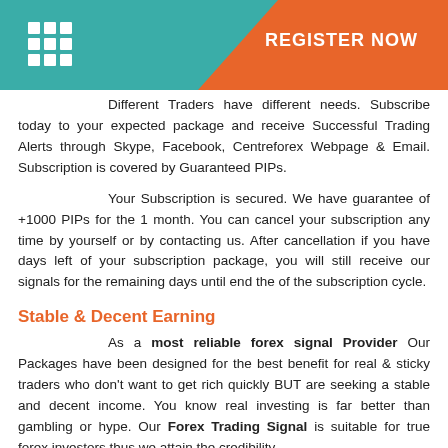REGISTER NOW
Different Traders have different needs. Subscribe today to your expected package and receive Successful Trading Alerts through Skype, Facebook, Centreforex Webpage & Email. Subscription is covered by Guaranteed PIPs.
Your Subscription is secured. We have guarantee of +1000 PIPs for the 1 month. You can cancel your subscription any time by yourself or by contacting us. After cancellation if you have days left of your subscription package, you will still receive our signals for the remaining days until end the of the subscription cycle.
Stable & Decent Earning
As a most reliable forex signal Provider Our Packages have been designed for the best benefit for real & sticky traders who don't want to get rich quickly BUT are seeking a stable and decent income. You know real investing is far better than gambling or hype. Our Forex Trading Signal is suitable for true forex investors thus we attain the credibility